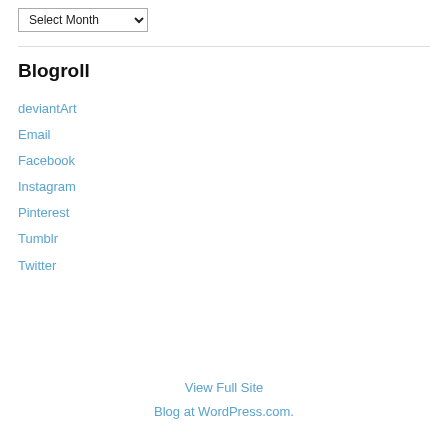Select Month
Blogroll
deviantArt
Email
Facebook
Instagram
Pinterest
Tumblr
Twitter
View Full Site
Blog at WordPress.com.